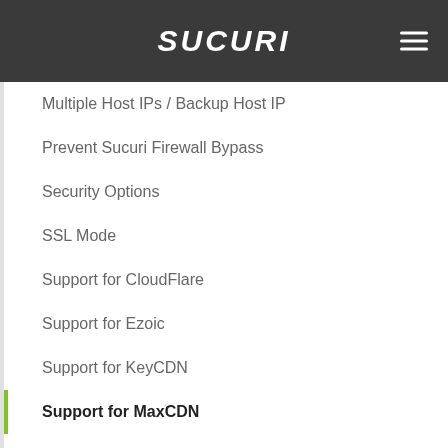Sucuri
Multiple Host IPs / Backup Host IP
Prevent Sucuri Firewall Bypass
Security Options
SSL Mode
Support for CloudFlare
Support for Ezoic
Support for KeyCDN
Support for MaxCDN
Working With DreamHost
Working with GoDaddy